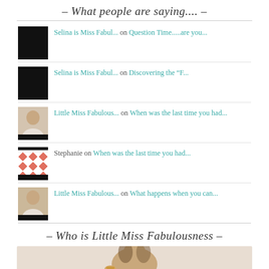- What people are saying.... -
Selina is Miss Fabul... on Question Time.....are you...
Selina is Miss Fabul... on Discovering the "F...
Little Miss Fabulous... on When was the last time you had...
Stephanie on When was the last time you had...
Little Miss Fabulous... on What happens when you can...
- Who is Little Miss Fabulousness -
[Figure (photo): Partial photo of a woman, visible from shoulders up, shown at bottom of page]